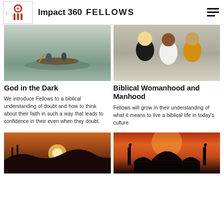Impact 360  FELLOWS
[Figure (photo): Two people in a canoe on a misty lake]
[Figure (photo): Group of young people talking outdoors]
God in the Dark
Biblical Womanhood and Manhood
We introduce Fellows to a biblical understanding of doubt and how to think about their faith in such a way that leads to confidence in their even when they doubt.
Fellows will grow in their understanding of what it means to live a biblical life in today's culture.
[Figure (photo): Sunset over hilly landscape with silhouettes]
[Figure (photo): Mosque silhouette against orange sunset sky]